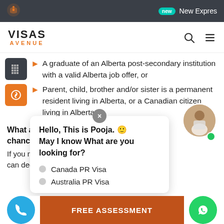New Expres
[Figure (logo): Visas Avenue logo with orange AVENUE text]
A graduate of an Alberta post-secondary institution with a valid Alberta job offer, or
Parent, child, brother and/or sister is a permanent resident living in Alberta, or a Canadian citizen living in Alberta
What are the factors, w... chances of getting NO...
If you meet one or more of the b... can decrease your chances of ge...
[Figure (screenshot): Chat popup with Pooja avatar saying Hello, This is Pooja. May I know What are you looking for? with options Canada PR Visa and Australia PR Visa]
FREE ASSESSMENT